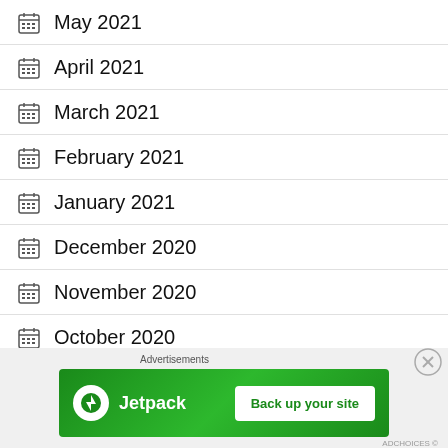May 2021
April 2021
March 2021
February 2021
January 2021
December 2020
November 2020
October 2020
[Figure (other): Jetpack advertisement banner: green background with Jetpack logo and 'Back up your site' button]
Advertisements